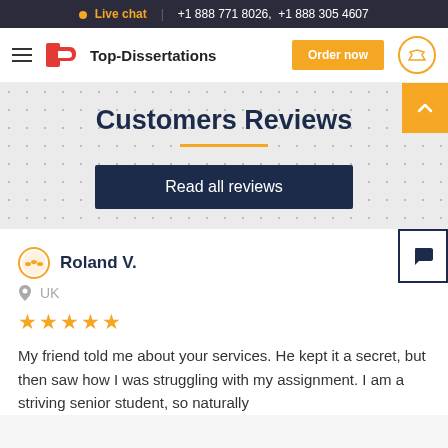Live chat  |  +1 888 771 8026,  +1 888 305 4607
[Figure (logo): Top-Dissertations logo with hamburger menu and Order now button]
Customers Reviews
Read all reviews
Roland V.
UK
★★★★★
My friend told me about your services. He kept it a secret, but then saw how I was struggling with my assignment. I am a striving senior student, so naturally